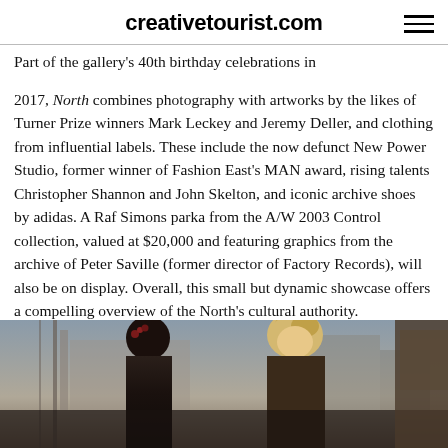creativetourist.com
Part of the gallery's 40th birthday celebrations in 2017, North combines photography with artworks by the likes of Turner Prize winners Mark Leckey and Jeremy Deller, and clothing from influential labels. These include the now defunct New Power Studio, former winner of Fashion East's MAN award, rising talents Christopher Shannon and John Skelton, and iconic archive shoes by adidas. A Raf Simons parka from the A/W 2003 Control collection, valued at $20,000 and featuring graphics from the archive of Peter Saville (former director of Factory Records), will also be on display. Overall, this small but dynamic showcase offers a compelling overview of the North's cultural authority.
[Figure (photo): A photograph showing two figures, partially visible, appearing to be taken in an urban setting. One figure has dark hair with floral accessories, the other has blonde hair styled upward.]